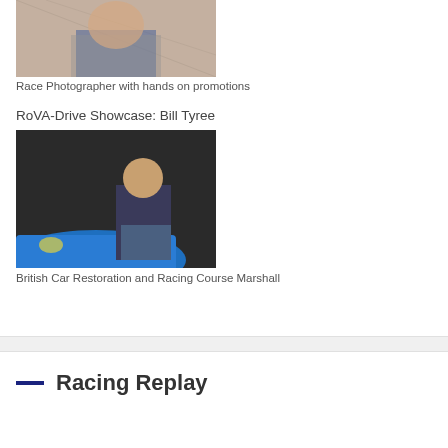[Figure (photo): Photo of a person smiling, wearing a grey shirt and blue vest, outdoors near a chain-link fence]
Race Photographer with hands on promotions
RoVA-Drive Showcase: Bill Tyree
[Figure (photo): Photo of an older man in a dark jacket standing in front of a bright blue classic British car in a garage]
British Car Restoration and Racing Course Marshall
Racing Replay